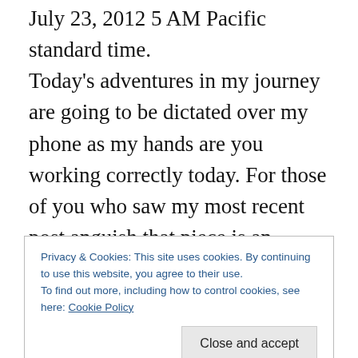July 23, 2012 5 AM Pacific standard time. Today's adventures in my journey are going to be dictated over my phone as my hands are you working correctly today. For those of you who saw my most recent post anguish that piece is an interesting piece it started out as a very bright and sunshiny piece when it was originally created and through the process of my emotions and changing mood the piece ended up being a direct reflection of the pain and frustration as a human with Parkinson's that I was feeling. Oddly enough after yesterdays adventures in never finding my Zen never
Privacy & Cookies: This site uses cookies. By continuing to use this website, you agree to their use.
To find out more, including how to control cookies, see here: Cookie Policy

Close and accept